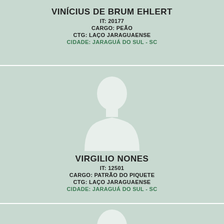VINÍCIUS DE BRUM EHLERT
IT: 20177
CARGO: PEÃO
CTG: LAÇO JARAGUAENSE
CIDADE: JARAGUÁ DO SUL - SC
[Figure (illustration): Silhouette placeholder image of a person (head and shoulders), light color on green background]
VIRGILIO NONES
IT: 12501
CARGO: PATRÃO DO PIQUETE
CTG: LAÇO JARAGUAENSE
CIDADE: JARAGUÁ DO SUL - SC
[Figure (illustration): Partial silhouette placeholder image of a person (head and shoulders), light color on green background, cropped at bottom]